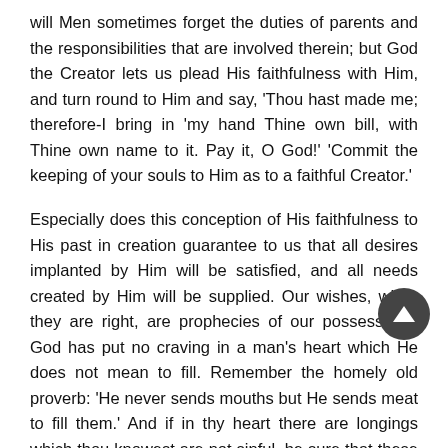will Men sometimes forget the duties of parents and the responsibilities that are involved therein; but God the Creator lets us plead His faithfulness with Him, and turn round to Him and say, 'Thou hast made me; therefore-I bring in 'my hand Thine own bill, with Thine own name to it. Pay it, O God!' 'Commit the keeping of your souls to Him as to a faithful Creator.'
Especially does this conception of His faithfulness to His past in creation guarantee to us that all desires implanted by Him will be satisfied, and all needs created by Him will be supplied. Our wishes, when they are right, are prophecies of our possessions. God has put no craving in a man's heart which He does not mean to fill. Remember the homely old proverb: 'He never sends mouths but He sends meat to fill them.' And if in thy heart there are longings which thou knowest are not sinful, be sure that these are veiled prophets of a divine gift. All these necessities of ours, all these hungry desires, all these sometimes painful thirsts of the soul that we try to slake at muddy and broken cisterns — all these are meant to take us straight to God. They are